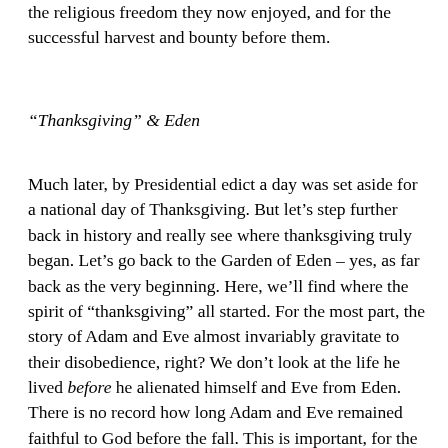the religious freedom they now enjoyed, and for the successful harvest and bounty before them.
“Thanksgiving” & Eden
Much later, by Presidential edict a day was set aside for a national day of Thanksgiving. But let’s step further back in history and really see where thanksgiving truly began. Let’s go back to the Garden of Eden – yes, as far back as the very beginning. Here, we’ll find where the spirit of “thanksgiving” all started. For the most part, the story of Adam and Eve almost invariably gravitate to their disobedience, right? We don’t look at the life he lived before he alienated himself and Eve from Eden. There is no record how long Adam and Eve remained faithful to God before the fall. This is important, for the life Adam and Eve had with God was the kind of life God had in mind for mankind. It was a relationship that Adam and Eve enjoyed with God. It was a relationship based upon His Love for man which is the sole reason why He created man. What